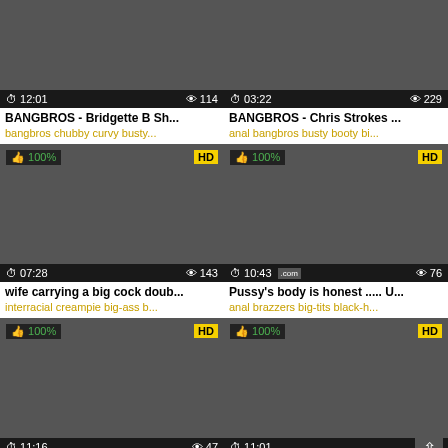[Figure (screenshot): Video thumbnail grid showing 6 adult video thumbnails in a 2x3 grid layout with titles and tags]
BANGBROS - Bridgette B Sh... | 12:01 | 114 views | bangbros chubby curvy busty...
BANGBROS - Chris Strokes ... | 03:22 | 229 views | anal bangbros busty booty bi...
wife carrying a big cock doub... | 07:28 | 143 views | interracial creampie big-ass b...
Pussy's body is honest ..... U... | 10:43 | 76 views | anal brazzers big-tits black-h...
Adorable Glasses Girl Big Fa... | 11:16 | 47 views | teen hardcore outdoor pornst...
XCHIMERA - Big Tits Girl | 11:01 | 49 views | porn hardcore european d...